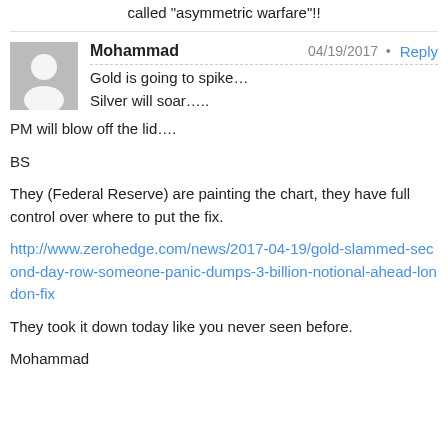called “asymmetric warfare”!!
Mohammad
04/19/2017 • Reply
Gold is going to spike…
Silver will soar…..
PM will blow off the lid….

BS

They (Federal Reserve) are painting the chart, they have full control over where to put the fix.

http://www.zerohedge.com/news/2017-04-19/gold-slammed-second-day-row-someone-panic-dumps-3-billion-notional-ahead-london-fix

They took it down today like you never seen before.

Mohammad